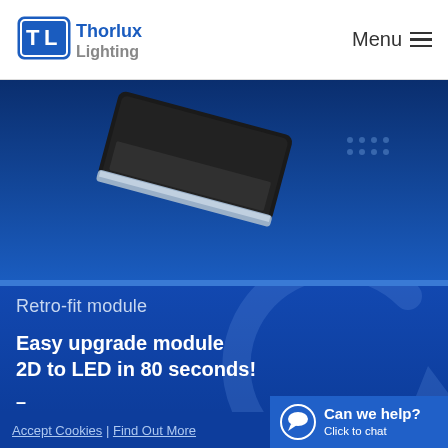[Figure (logo): Thorlux Lighting logo with TL shield icon in blue and company name]
Menu
[Figure (photo): Close-up of a dark industrial luminaire/light fixture against a dark blue background]
Retro-fit module
Easy upgrade module 2D to LED in 80 seconds!
–
Accept Cookies | Find Out More
[Figure (other): Chat widget: Can we help? Click to chat]